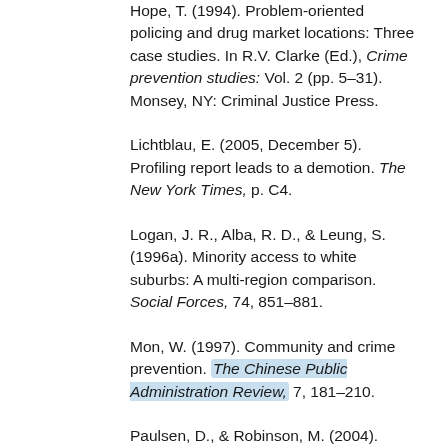Hope, T. (1994). Problem-oriented policing and drug market locations: Three case studies. In R.V. Clarke (Ed.), Crime prevention studies: Vol. 2 (pp. 5–31). Monsey, NY: Criminal Justice Press.
Lichtblau, E. (2005, December 5). Profiling report leads to a demotion. The New York Times, p. C4.
Logan, J. R., Alba, R. D., & Leung, S. (1996a). Minority access to white suburbs: A multi-region comparison. Social Forces, 74, 851–881.
Mon, W. (1997). Community and crime prevention. The Chinese Public Administration Review, 7, 181–210.
Paulsen, D., & Robinson, M. (2004). Spatial